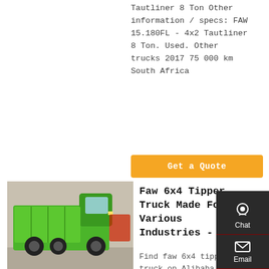Tautliner 8 Ton Other information / specs: FAW 15.180FL - 4x2 Tautliner 8 Ton. Used. Other trucks 2017 75 000 km South Africa
Get a Quote
[Figure (photo): Green FAW 6x4 tipper truck on display at an exhibition hall]
Faw 6x4 Tipper Truck Made For Various Industries -
Find faw 6x4 tipper truck on Alibaba.com to